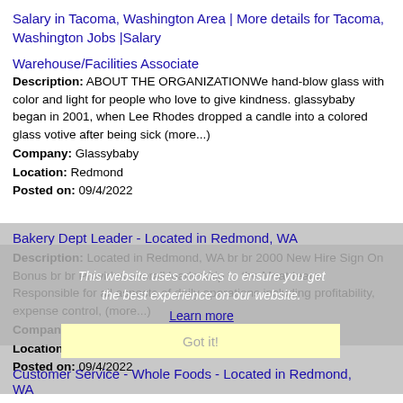Salary in Tacoma, Washington Area | More details for Tacoma, Washington Jobs |Salary
Warehouse/Facilities Associate
Description: ABOUT THE ORGANIZATIONWe hand-blow glass with color and light for people who love to give kindness. glassybaby began in 2001, when Lee Rhodes dropped a candle into a colored glass votive after being sick (more...)
Company: Glassybaby
Location: Redmond
Posted on: 09/4/2022
Bakery Dept Leader - Located in Redmond, WA
Description: Located in Redmond, WA br br 2000 New Hire Sign On Bonus br br Provides overall leadership to the Meat team. Responsible for all aspects of daily operations including profitability, expense control, (more...)
Company: Whole Foods Market
Location: Redmond
Posted on: 09/4/2022
This website uses cookies to ensure you get the best experience on our website.
Learn more
Got it!
Customer Service - Whole Foods - Located in Redmond, WA